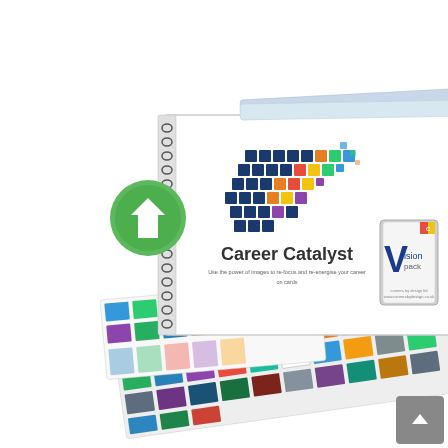[Figure (photo): Product photo showing Career Catalyst card set with a spiral-bound workbook featuring a mosaic running figure logo and 'Career Catalyst' branding, accompanied by a Vision Pack tin case, a green download arrow icon overlay, and a spread of colorful image cards fanned out in the foreground. An 'Add to cart' button appears at top center and a scroll-to-top button at bottom right.]